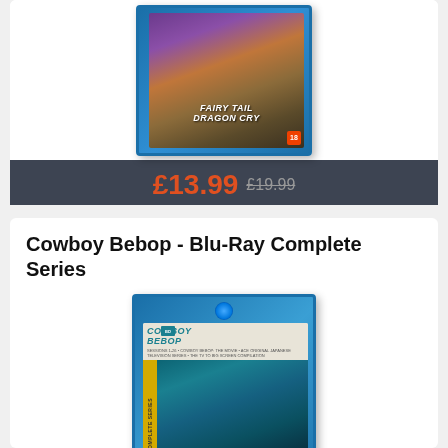[Figure (photo): Fairy Tail Dragon Cry Blu-ray product image with blue case]
£13.99 £19.99
Cowboy Bebop - Blu-Ray Complete Series
[Figure (photo): Cowboy Bebop Blu-Ray Complete Series product image with blue case and teal artwork]